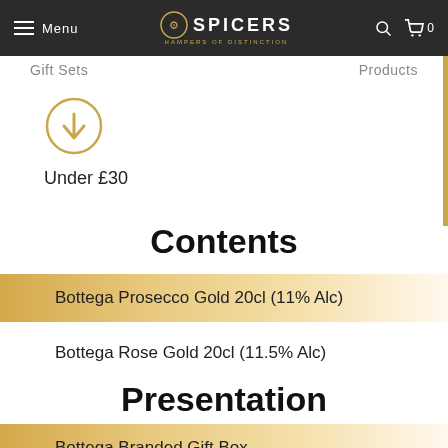Menu | SPICERS HAMPERS OF DISTINCTION | 0
Gift Sets ... Products
[Figure (illustration): Orange down-arrow inside a circle]
Under £30
Contents
Bottega Prosecco Gold 20cl (11% Alc)
Bottega Rose Gold 20cl (11.5% Alc)
Presentation
Bottega Branded Gift Box